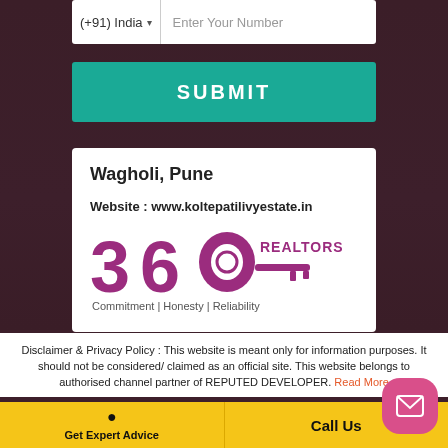(+91) India ▾  Enter Your Number
SUBMIT
Wagholi, Pune
Website : www.koltepatilivyestate.in
[Figure (logo): 360 REALTORS logo with a key icon and tagline: Commitment | Honesty | Reliability]
Disclaimer & Privacy Policy : This website is meant only for information purposes. It should not be considered/ claimed as an official site. This website belongs to authorised channel partner of REPUTED DEVELOPER. Read More
Get Expert Advice
Call Us